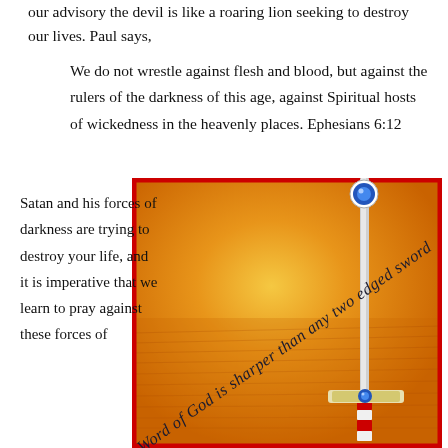our advisory the devil is like a roaring lion seeking to destroy our lives. Paul says,
We do not wrestle against flesh and blood, but against the rulers of the darkness of this age, against Spiritual hosts of wickedness in the heavenly places. Ephesians 6:12
Satan and his forces of darkness are trying to destroy your life, and it is imperative that we learn to pray against these forces of
[Figure (illustration): An illustration with an orange/yellow background resembling sandy desert light, bordered by a red frame. A sword with a red and white striped handle and a blue gem crossguard is shown on the right side. Diagonal cursive text reads 'Word of God is sharper than any two edged sword'.]